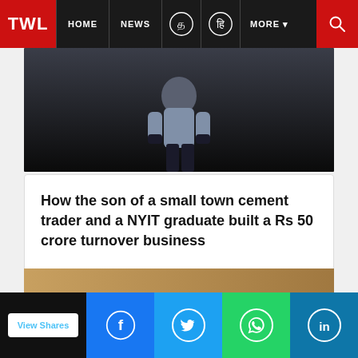TWL | HOME | NEWS | MORE
[Figure (photo): Dark-toned photo of a person standing, lower body visible, against a dark background]
How the son of a small town cement trader and a NYIT graduate built a Rs 50 crore turnover business
[Figure (photo): Partial thumbnail image visible at the bottom of the page]
View Shares | Facebook | Twitter | WhatsApp | LinkedIn share buttons